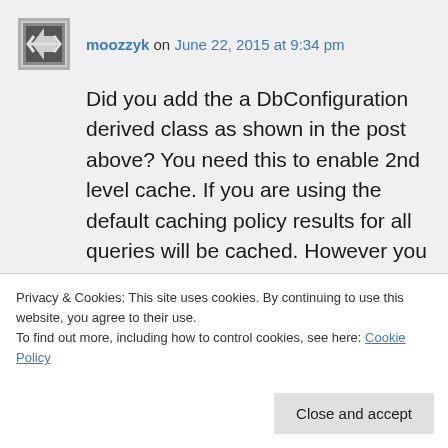moozzyk on June 22, 2015 at 9:34 pm
Did you add the a DbConfiguration derived class as shown in the post above? You need this to enable 2nd level cache. If you are using the default caching policy results for all queries will be cached. However you can subclass the CachingPolicy class and override CanBeCached method to change this
Privacy & Cookies: This site uses cookies. By continuing to use this website, you agree to their use.
To find out more, including how to control cookies, see here: Cookie Policy
Close and accept